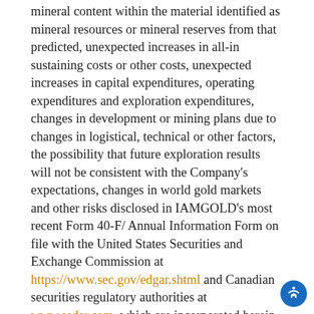mineral content within the material identified as mineral resources or mineral reserves from that predicted, unexpected increases in all-in sustaining costs or other costs, unexpected increases in capital expenditures, operating expenditures and exploration expenditures, changes in development or mining plans due to changes in logistical, technical or other factors, the possibility that future exploration results will not be consistent with the Company's expectations, changes in world gold markets and other risks disclosed in IAMGOLD's most recent Form 40-F/ Annual Information Form on file with the United States Securities and Exchange Commission at https://www.sec.gov/edgar.shtml and Canadian securities regulatory authorities at www.sedar.com, which are incorporated herein. Any forward-looking statement speaks only as of the date on which it is made and, except as may be required by applicable securities laws, the Company disclaims any intent or obligation to update any forward-looking statement. The Company disclaims